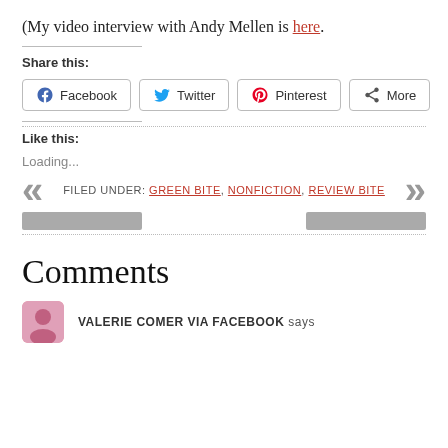(My video interview with Andy Mellen is here.
Share this:
Facebook  Twitter  Pinterest  More
Like this:
Loading...
FILED UNDER: GREEN BITE, NONFICTION, REVIEW BITE
Comments
VALERIE COMER VIA FACEBOOK says